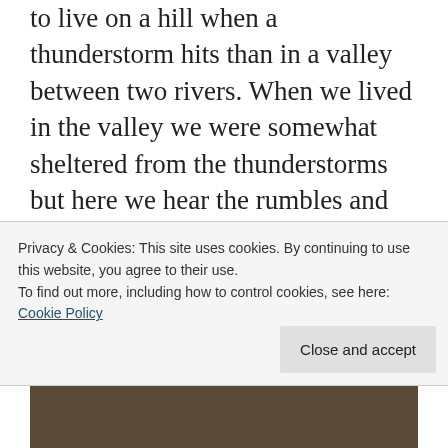to live on a hill when a thunderstorm hits than in a valley between two rivers. When we lived in the valley we were somewhat sheltered from the thunderstorms but here we hear the rumbles and watch the storm clouds roll toward us. My daughter looks at me with wide eyes when it thunders now because thunder wasn't as loud at our old house. Sometimes it is like we are closer to the sky here and maybe we are since our hill is pretty tall. I looked up last night and saw this huge cloud hanging what felt like right on top of me.
Privacy & Cookies: This site uses cookies. By continuing to use this website, you agree to their use.
To find out more, including how to control cookies, see here: Cookie Policy
Close and accept